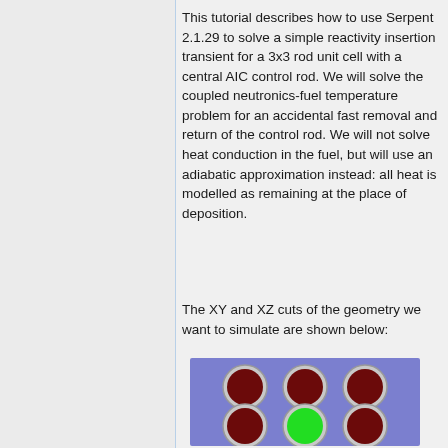This tutorial describes how to use Serpent 2.1.29 to solve a simple reactivity insertion transient for a 3x3 rod unit cell with a central AIC control rod. We will solve the coupled neutronics-fuel temperature problem for an accidental fast removal and return of the control rod. We will not solve heat conduction in the fuel, but will use an adiabatic approximation instead: all heat is modelled as remaining at the place of deposition.
The XY and XZ cuts of the geometry we want to simulate are shown below:
[Figure (illustration): XY cut of a 3x3 rod geometry showing a blue moderator background with dark red (maroon) fuel rod circles arranged in a 3x3 grid. The center rod of the bottom row is bright green, representing the AIC control rod. Each rod has a gray cladding ring around it.]